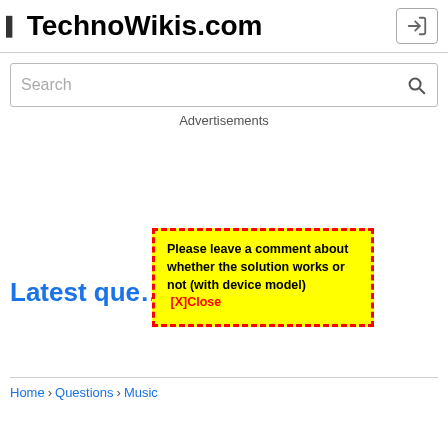TechnoWikis.com
Search
Advertisements
[Figure (other): Yellow popup box with dashed red border containing the message: Please leave a comment about whether the solution works or not (with device model)  [X]Close]
Latest questions and answers in Music
Home › Questions › Music